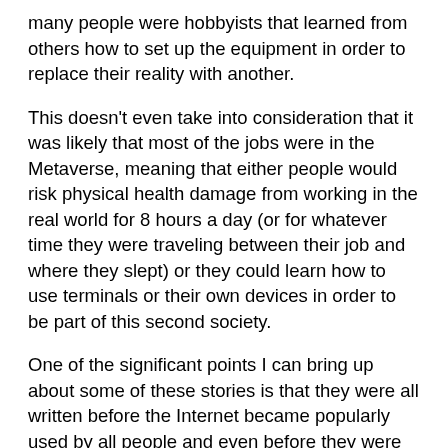many people were hobbyists that learned from others how to set up the equipment in order to replace their reality with another.
This doesn't even take into consideration that it was likely that most of the jobs were in the Metaverse, meaning that either people would risk physical health damage from working in the real world for 8 hours a day (or for whatever time they were traveling between their job and where they slept) or they could learn how to use terminals or their own devices in order to be part of this second society.
One of the significant points I can bring up about some of these stories is that they were all written before the Internet became popularly used by all people and even before they were truly understood. They were writing science fiction and were letting their imaginations take them to unknown territory, a frontier that hadn't been tamed or explored yet. A place where it can be argued that anything is possible.